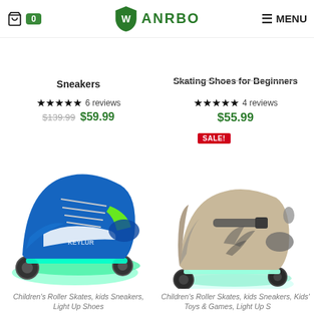ANRBO — 0 items in cart — MENU
Sneakers
Skating Shoes for Beginners
★★★★★ 6 reviews $139.99 $59.99
★★★★★ 4 reviews $55.99
SALE!
[Figure (photo): Blue and green children's roller skate sneaker with LED lights glowing green/teal on the soles, shown at an angle.]
[Figure (photo): Beige/grey children's roller skate sneaker with LED lights glowing mint green on the soles, shown at an angle from behind.]
Children's Roller Skates, kids Sneakers, Light Up Shoes
Children's Roller Skates, kids Sneakers, Kids' Toys & Games, Light Up Shoes